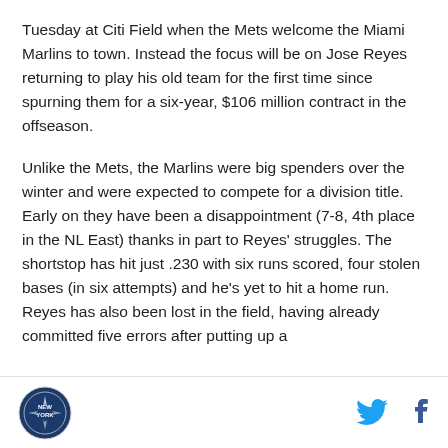Tuesday at Citi Field when the Mets welcome the Miami Marlins to town. Instead the focus will be on Jose Reyes returning to play his old team for the first time since spurning them for a six-year, $106 million contract in the offseason.
Unlike the Mets, the Marlins were big spenders over the winter and were expected to compete for a division title. Early on they have been a disappointment (7-8, 4th place in the NL East) thanks in part to Reyes' struggles. The shortstop has hit just .230 with six runs scored, four stolen bases (in six attempts) and he's yet to hit a home run. Reyes has also been lost in the field, having already committed five errors after putting up a
New York logo | Twitter | Facebook